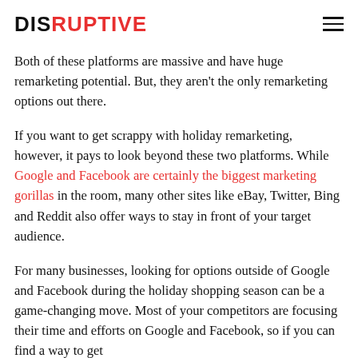DISRUPTIVE
Both of these platforms are massive and have huge remarketing potential. But, they aren't the only remarketing options out there.
If you want to get scrappy with holiday remarketing, however, it pays to look beyond these two platforms. While Google and Facebook are certainly the biggest marketing gorillas in the room, many other sites like eBay, Twitter, Bing and Reddit also offer ways to stay in front of your target audience.
For many businesses, looking for options outside of Google and Facebook during the holiday shopping season can be a game-changing move. Most of your competitors are focusing their time and efforts on Google and Facebook, so if you can find a way to get